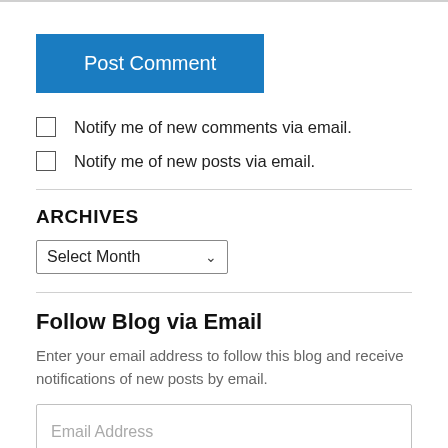[Figure (screenshot): Blue 'Post Comment' button]
Notify me of new comments via email.
Notify me of new posts via email.
ARCHIVES
[Figure (screenshot): Select Month dropdown widget]
Follow Blog via Email
Enter your email address to follow this blog and receive notifications of new posts by email.
[Figure (screenshot): Email Address input field]